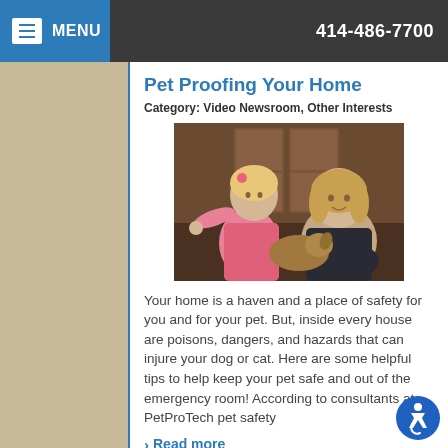MENU  414-486-7700
Pet Proofing Your Home
Category: Video Newsroom, Other Interests
[Figure (photo): Woman and young child sitting together, child pointing at camera, indoor setting with wooden cabinet in background]
Your home is a haven and a place of safety for you and for your pet. But, inside every house are poisons, dangers, and hazards that can injure your dog or cat. Here are some helpful tips to help keep your pet safe and out of the emergency room! According to consultants at PetProTech pet safety
Read more